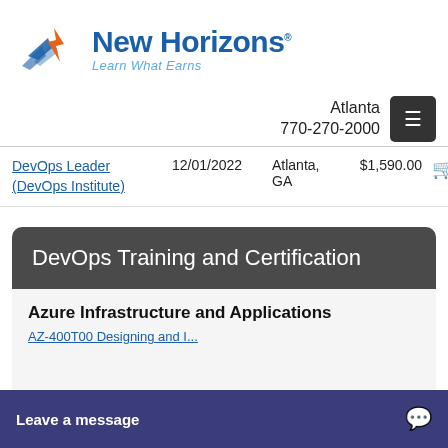[Figure (logo): New Horizons logo with blue wing/arrow icon and orange accent, text 'New Horizons' in blue bold, tagline 'Learn What Earns' in italic blue]
Atlanta
770-270-2000
| Course | Date | Location | Price |
| --- | --- | --- | --- |
| DevOps Leader (DevOps Institute) | 12/01/2022 | Atlanta, GA | $1,590.00 |
DevOps Training and Certification
Azure Infrastructure and Applications
AZ-400T00 Designing and I…
Leave a message